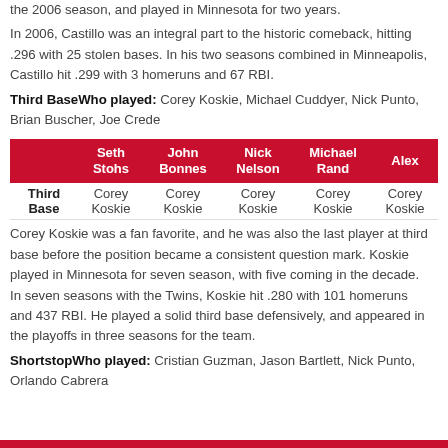the 2006 season, and played in Minnesota for two years. In 2006, Castillo was an integral part to the historic comeback, hitting .296 with 25 stolen bases. In his two seasons combined in Minneapolis, Castillo hit .299 with 3 homeruns and 67 RBI.
Third BaseWho played: Corey Koskie, Michael Cuddyer, Nick Punto, Brian Buscher, Joe Crede
|  | Seth Stohs | John Bonnes | Nick Nelson | Michael Rand | Alex |
| --- | --- | --- | --- | --- | --- |
| Third Base | Corey Koskie | Corey Koskie | Corey Koskie | Corey Koskie | Corey Koskie |
Corey Koskie was a fan favorite, and he was also the last player at third base before the position became a consistent question mark. Koskie played in Minnesota for seven season, with five coming in the decade. In seven seasons with the Twins, Koskie hit .280 with 101 homeruns and 437 RBI. He played a solid third base defensively, and appeared in the playoffs in three seasons for the team.
ShortstopWho played: Cristian Guzman, Jason Bartlett, Nick Punto, Orlando Cabrera